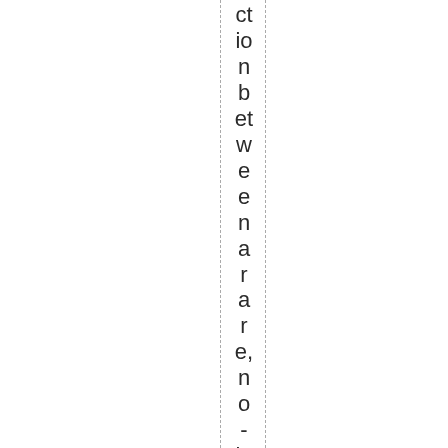ction between a ware, no-longer-mad